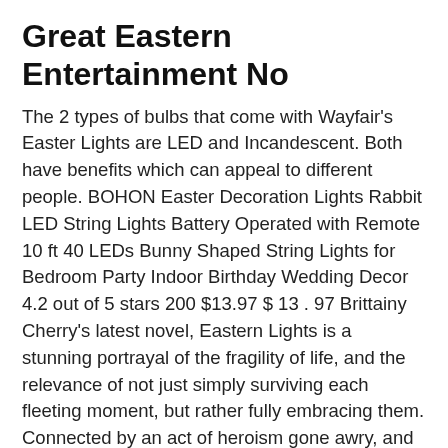Great Eastern Entertainment No
The 2 types of bulbs that come with Wayfair's Easter Lights are LED and Incandescent. Both have benefits which can appeal to different people. BOHON Easter Decoration Lights Rabbit LED String Lights Battery Operated with Remote 10 ft 40 LEDs Bunny Shaped String Lights for Bedroom Party Indoor Birthday Wedding Decor 4.2 out of 5 stars 200 $13.97 $ 13 . 97 Brittainy Cherry's latest novel, Eastern Lights is a stunning portrayal of the fragility of life, and the relevance of not just simply surviving each fleeting moment, but rather fully embracing them. Connected by an act of heroism gone awry, and reunited by fate years later Connor and Aaliyah's paths cross once again.